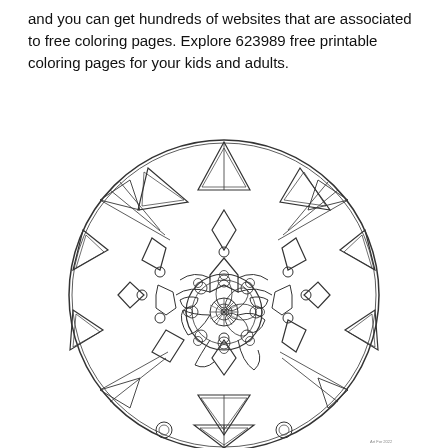and you can get hundreds of websites that are associated to free coloring pages. Explore 623989 free printable coloring pages for your kids and adults.
[Figure (illustration): A detailed mandala coloring page illustration featuring geometric patterns including triangles, circles, and interlocking designs arranged in a circular format with a floral center.]